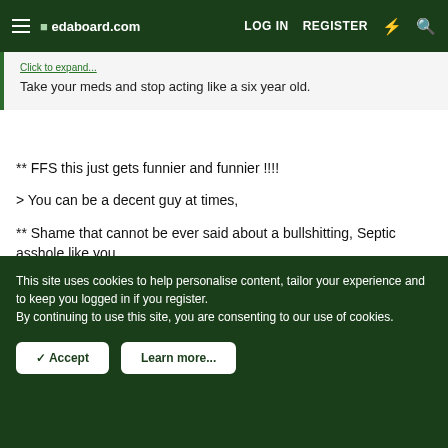edaboard.com | LOG IN | REGISTER
Take your meds and stop acting like a six year old.
** FFS this just gets funnier and funnier !!!!

> You can be a decent guy at times,

** Shame that cannot be ever said about a bullshitting, Septic asshole like you.

Drop dead.
This site uses cookies to help personalise content, tailor your experience and to keep you logged in if you register.
By continuing to use this site, you are consenting to our use of cookies.